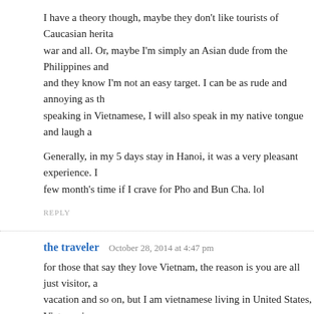I have a theory though, maybe they don't like tourists of Caucasian heritage because of the war and all. Or, maybe I'm simply an Asian dude from the Philippines and they know I'm not an easy target. I can be as rude and annoying as th... speaking in Vietnamese, I will also speak in my native tongue and laugh a...
Generally, in my 5 days stay in Hanoi, it was a very pleasant experience. I... few month's time if I crave for Pho and Bun Cha. lol
REPLY
the traveler   October 28, 2014 at 4:47 pm
for those that say they love Vietnam, the reason is you are all just visitor, a vacation and so on, but I am vietnamese living in United States, Vietnam i... people, Government system is the worst, bribe everywhere....live and go o... are a traveler, they want your money , money and money...Vietnamese ha... stupid forhead...
REPLY
wes   September 24, 2013 at 6:53 am